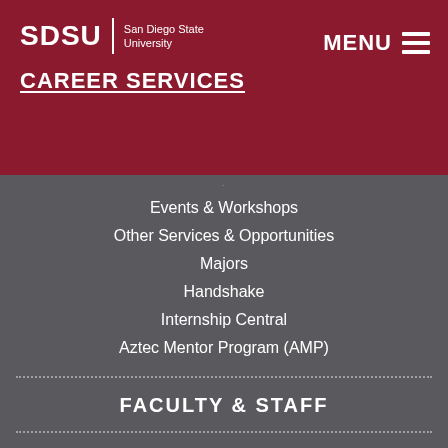SDSU | San Diego State University — CAREER SERVICES — MENU
Events & Workshops
Other Services & Opportunities
Majors
Handshake
Internship Central
Aztec Mentor Program (AMP)
FACULTY & STAFF
Faculty & Staff Internships
Post jobs, internships, & research opportunities
Refer students to Career Services
Request a classroom presentation
EMPLOYERS